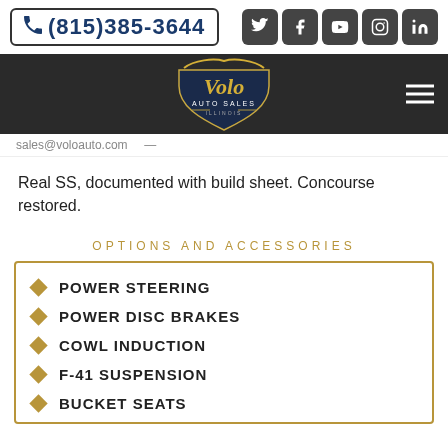(815)385-3644
[Figure (logo): Volo Auto Sales Illinois logo with golden script lettering on dark shield badge]
Real SS, documented with build sheet. Concourse restored.
OPTIONS AND ACCESSORIES
POWER STEERING
POWER DISC BRAKES
COWL INDUCTION
F-41 SUSPENSION
BUCKET SEATS